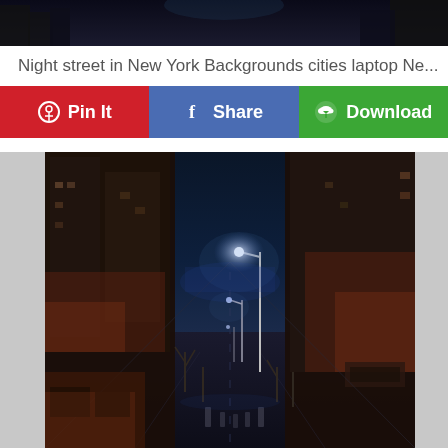[Figure (photo): Partial top edge of a night street photo showing dark city scene]
Night street in New York Backgrounds cities laptop Ne...
Pin It
Share
Download
[Figure (photo): Night street scene in a city with tall buildings on both sides, empty road, street lamps glowing, dark blue night sky]